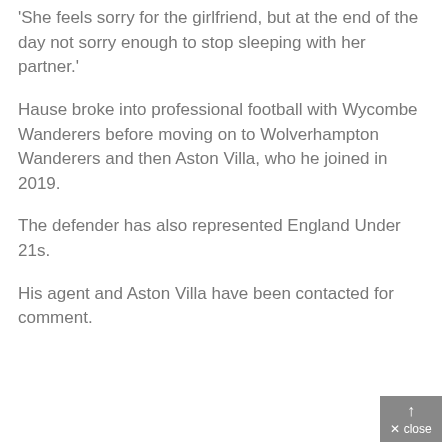'She feels sorry for the girlfriend, but at the end of the day not sorry enough to stop sleeping with her partner.'
Hause broke into professional football with Wycombe Wanderers before moving on to Wolverhampton Wanderers and then Aston Villa, who he joined in 2019.
The defender has also represented England Under 21s.
His agent and Aston Villa have been contacted for comment.